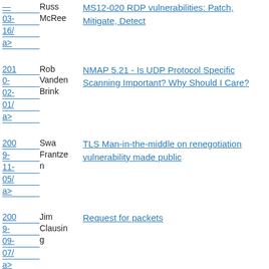2012-03-16/ a> | Russ McRee | MS12-020 RDP vulnerabilities: Patch, Mitigate, Detect
2010-02-01/ a> | Rob Vanden Brink | NMAP 5.21 - Is UDP Protocol Specific Scanning Important? Why Should I Care?
2009-11-05/ a> | Swa Frantzen | TLS Man-in-the-middle on renegotiation vulnerability made public
2009-09-07/ a> | Jim Clausing | Request for packets